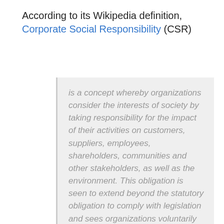According to its Wikipedia definition, Corporate Social Responsibility (CSR)
is a concept whereby organizations consider the interests of society by taking responsibility for the impact of their activities on customers, suppliers, employees, shareholders, communities and other stakeholders, as well as the environment. This obligation is seen to extend beyond the statutory obligation to comply with legislation and sees organizations voluntarily taking further steps to improve the quality of life for employees and their families as well as for the local community and society at large.